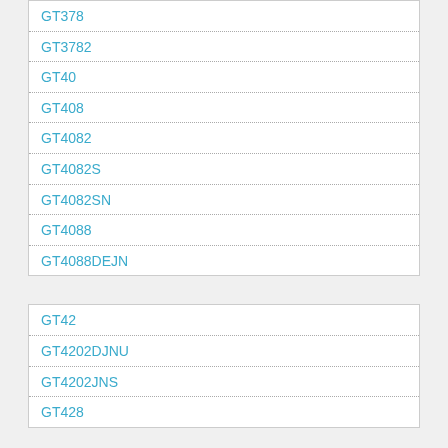GT378
GT3782
GT40
GT408
GT4082
GT4082S
GT4082SN
GT4088
GT4088DEJN
GT42
GT4202DJNU
GT4202JNS
GT428